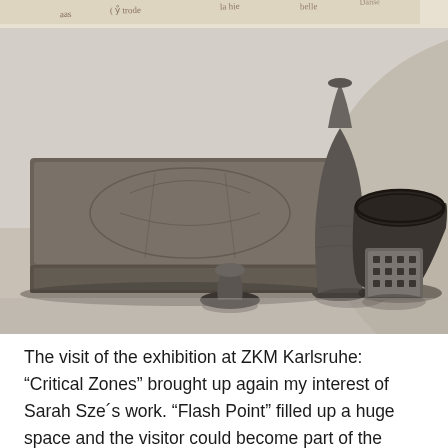[Figure (photo): Top strip showing handwritten text on aged paper, partially visible at top of page]
[Figure (photo): Black and white photograph of several dark ceramic/wooden objects arranged on a surface: a flat decorated box/tray in foreground, a tall narrow vase in center-back, a wide round pot on the right, a small spinning top/mushroom shape in lower center, and a cube with hole pattern on lower right]
The visit of the exhibition at ZKM Karlsruhe: “Critical Zones” brought up again my interest of Sarah Sze´s work. “Flash Point” filled up a huge space and the visitor could become part of the installation itself. So I did a bit of